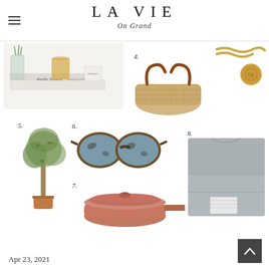LA VIE On Grand
[Figure (photo): Lifestyle shelf product photo with 'Pacific Natural' book, glass vessels with plants, and a candle — item 1/2/3 grouped]
[Figure (photo): Woven straw market tote bag with brown leather handles — item 4]
[Figure (photo): Gold chain necklace with coin pendant — item 3]
[Figure (photo): Small potted olive tree — item 5]
[Figure (photo): Tortoiseshell cat-eye sunglasses with blue lenses — item 6]
[Figure (photo): Terracotta/blush colored Always Pan with lid — item 7]
[Figure (photo): Folded grey linen shirt or jacket — item 8]
Apr 23, 2021